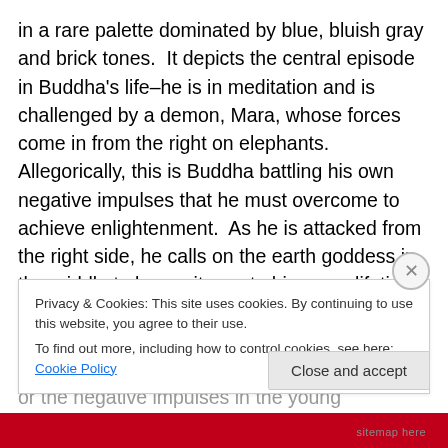in a rare palette dominated by blue, bluish gray and brick tones.  It depicts the central episode in Buddha's life–he is in meditation and is challenged by a demon, Mara, whose forces come in from the right on elephants.  Allegorically, this is Buddha battling his own negative impulses that he must overcome to achieve enlightenment.  As he is attacked from the right side, he calls on the earth goddess in the middle to bear witness to his many lifetimes of spiritual preparation for Buddhahood.  The earth goddess wrings out her wet hair and creates a flood that washes away the demons or the negative impulses in the young
Privacy & Cookies: This site uses cookies. By continuing to use this website, you agree to their use.
To find out more, including how to control cookies, see here: Cookie Policy